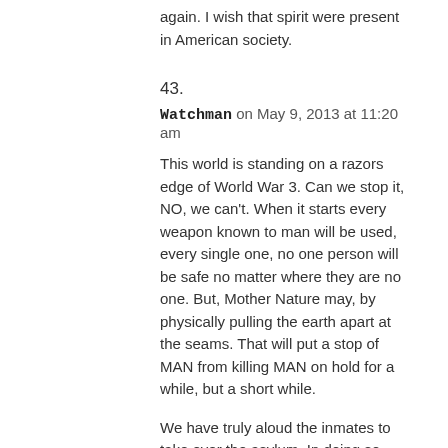again. I wish that spirit were present in American society.
43.
Watchman on May 9, 2013 at 11:20 am
This world is standing on a razors edge of World War 3. Can we stop it, NO, we can't. When it starts every weapon known to man will be used, every single one, no one person will be safe no matter where they are no one. But, Mother Nature may, by physically pulling the earth apart at the seams. That will put a stop of MAN from killing MAN on hold for a while, but a short while.
We have truly aloud the inmates to take over the asylum. In doing so they will do whatever they want. The only thing we can do is prepare for what is about to happen whatever that maybe. My take on what is going down.
Here the ENTI...